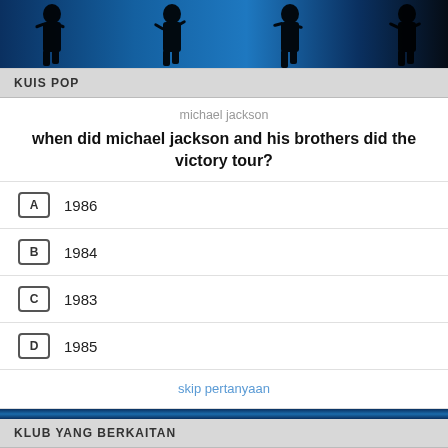[Figure (illustration): Top banner with silhouette figures of Michael Jackson against blue background]
KUIS POP
michael jackson
when did michael jackson and his brothers did the victory tour?
A  1986
B  1984
C  1983
D  1985
skip pertanyaan
KLUB YANG BERKAITAN
[Figure (photo): Photo of Janet Jackson]
janet jackson
[Figure (photo): Photo of pangeran michael jackson]
pangeran michael jackson
[Figure (photo): Photo of The Jackson 5]
The Jackson 5